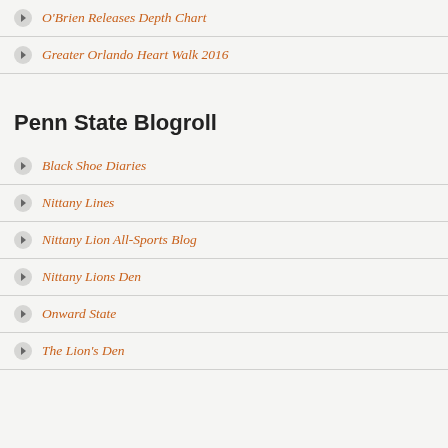O'Brien Releases Depth Chart
Greater Orlando Heart Walk 2016
Penn State Blogroll
Black Shoe Diaries
Nittany Lines
Nittany Lion All-Sports Blog
Nittany Lions Den
Onward State
The Lion's Den